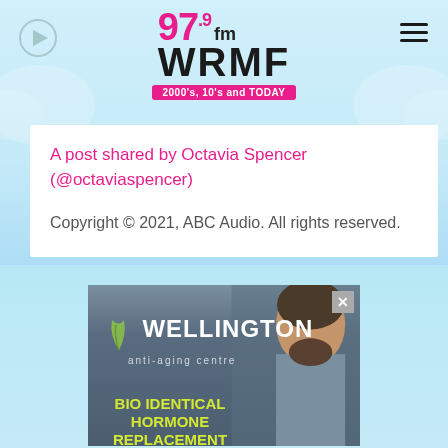[Figure (logo): 97.9 fm WRMF radio station logo with pink and black text and tagline '2000's, 10's and TODAY']
A post shared by Octavia Spencer (@octaviaspencer)
Copyright © 2021, ABC Audio. All rights reserved.
[Figure (advertisement): Wellington Anti-Aging Centre advertisement with a man's photo and green text: BIO IDENTICAL HORMONE REPLACEMENT THERAPY, FEEL 10 YEARS YOUNGER, INCREASE YOUR ENERGY]